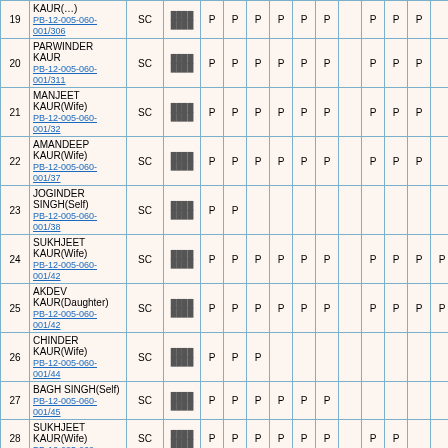| # | Name | Category | Language | P | P | P | P | P | P |  | P | P | P | P | Total | 184 |  |
| --- | --- | --- | --- | --- | --- | --- | --- | --- | --- | --- | --- | --- | --- | --- | --- | --- | --- |
| 19 | KAUR(…)
PB-12-005-060-001/306 | SC | ████
████ | P | P | P | P | P | P |  | P | P | P |  | 9 | 184 | 16 |
| 20 | PARWINDER KAUR
PB-12-005-060-001/311 | SC | ████
████ | P | P | P | P | P | P |  | P | P | P |  | 9 | 184 | 16 |
| 21 | MANJEET KAUR(Wife)
PB-12-005-060-001/32 | SC | ████
████ | P | P | P | P | P | P |  | P | P | P |  | 9 | 184 | 16 |
| 22 | AMANDEEP KAUR(Wife)
PB-12-005-060-001/37 | SC | ████
████ | P | P | P | P | P | P |  | P | P | P |  | 9 | 184 | 16 |
| 23 | JOGINDER SINGH(Self)
PB-12-005-060-001/38 | SC | ████
████ | P | P |  |  |  |  |  |  |  |  |  | 2 | 184 | 3 |
| 24 | SUKHJEET KAUR(Wife)
PB-12-005-060-001/42 | SC | ████
████ | P | P | P | P | P | P |  | P | P | P | P | 10 | 184 | 18 |
| 25 | AKDEV KAUR(Daughter)
PB-12-005-060-001/42 | SC | ████
████ | P | P | P | P | P | P |  | P | P | P | P | 10 | 184 | 18 |
| 26 | CHINDER KAUR(Wife)
PB-12-005-060-001/44 | SC | ████
████ | P | P | P |  |  |  |  |  |  |  |  | 3 | 184 | 5 |
| 27 | BAGH SINGH(Self)
PB-12-005-060-001/45 | SC | ████
████ | P | P | P | P | P | P |  |  |  |  |  | 6 | 184 | 11 |
| 28 | SUKHJEET KAUR(Wife)
PB-12-005-060-… | SC | ████
████ | P | P | P | P | P | P |  | P | P |  |  | 8 | 184 |  |